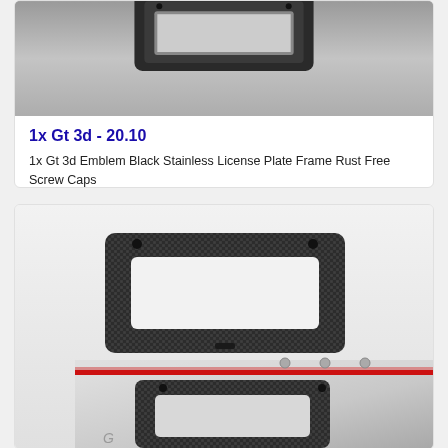[Figure (photo): Photo of a license plate frame product - black stainless steel frame shown on gray background, top portion visible]
1x Gt 3d - 20.10
1x Gt 3d Emblem Black Stainless License Plate Frame Rust Free Screw Caps
[Figure (photo): Two product photos of carbon fiber pattern license plate frames - one standalone frame showing carbon weave texture with screw holes, and one mounted on a red/silver car bumper]